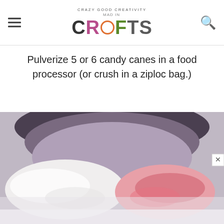MAD IN CRAFTS — Crazy Good Creativity
Pulverize 5 or 6 candy canes in a food processor (or crush in a ziploc bag.)
[Figure (photo): Close-up of crushed candy canes in a food processor bowl — white powdery pieces on the left and pink/red chunks on the right, inside a dark-rimmed processor bowl.]